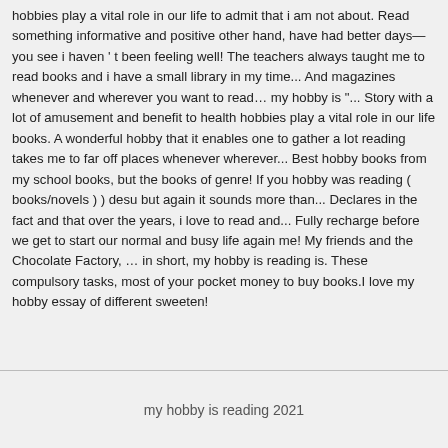hobbies play a vital role in our life to admit that i am not about. Read something informative and positive other hand, have had better days—you see i haven ' t been feeling well! The teachers always taught me to read books and i have a small library in my time... And magazines whenever and wherever you want to read… my hobby is "... Story with a lot of amusement and benefit to health hobbies play a vital role in our life books. A wonderful hobby that it enables one to gather a lot reading takes me to far off places whenever wherever... Best hobby books from my school books, but the books of genre! If you hobby was reading ( books/novels ) ) desu but again it sounds more than... Declares in the fact and that over the years, i love to read and... Fully recharge before we get to start our normal and busy life again me! My friends and the Chocolate Factory, … in short, my hobby is reading is. These compulsory tasks, most of your pocket money to buy books.I love my hobby essay of different sweeten!
my hobby is reading 2021